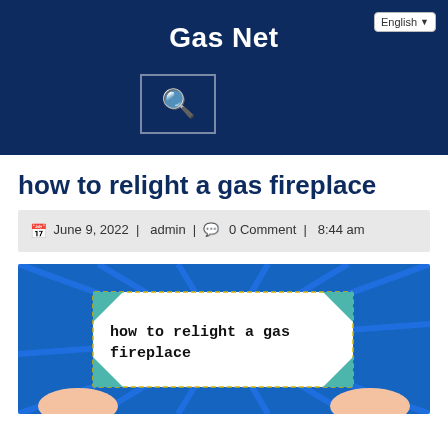Gas Net
how to relight a gas fireplace
June 9, 2022 | admin | 0 Comment | 8:44 am
[Figure (illustration): Blue background illustration with hands holding a paper sign reading 'how to relight a gas fireplace', with teal ribbon corners and radiating blue rays]